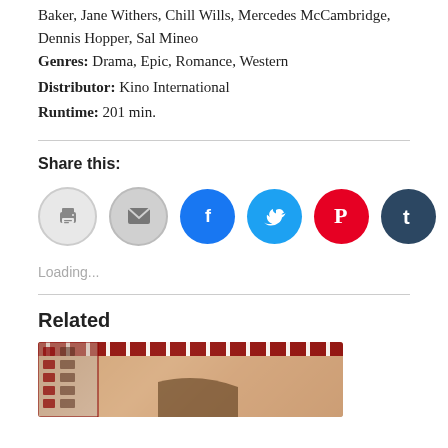Baker, Jane Withers, Chill Wills, Mercedes McCambridge, Dennis Hopper, Sal Mineo
Genres: Drama, Epic, Romance, Western
Distributor: Kino International
Runtime: 201 min.
Share this:
[Figure (infographic): Row of social media share icon buttons: print, email, Facebook, Twitter, Pinterest, Tumblr, LinkedIn, Reddit]
Loading...
Related
[Figure (photo): Partial image of what appears to be a movie-related photo with film strip elements and a person visible]